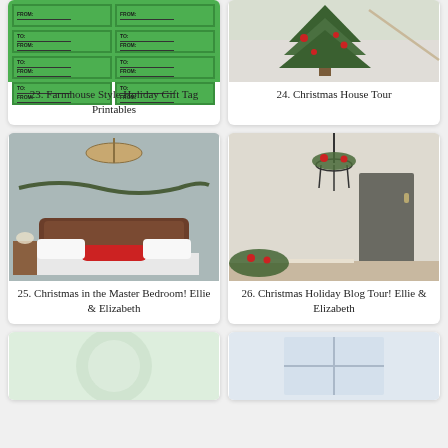[Figure (photo): Green gift tag printables sheet with farmhouse style holiday tags showing TO/FROM labels]
23. Farmhouse Style Holiday Gift Tag Printables
[Figure (photo): Christmas tree decorated with red and green ornaments near a staircase in a house]
24. Christmas House Tour
[Figure (photo): Christmas decorated master bedroom with chandelier, garland, and red pillow on white bed]
25. Christmas in the Master Bedroom! Ellie & Elizabeth
[Figure (photo): Christmas holiday decorated hallway with wrought iron chandelier adorned with Christmas greens and berries]
26. Christmas Holiday Blog Tour! Ellie & Elizabeth
[Figure (photo): Partial view of Christmas decoration, appears to be a wreath or ornament arrangement]
[Figure (photo): Partial view of Christmas window decoration]